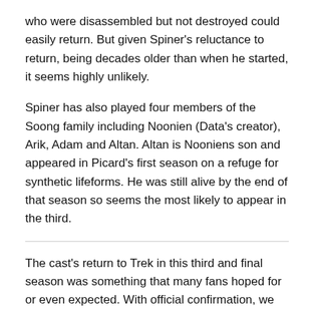who were disassembled but not destroyed could easily return. But given Spiner's reluctance to return, being decades older than when he started, it seems highly unlikely.
Spiner has also played four members of the Soong family including Noonien (Data's creator), Arik, Adam and Altan. Altan is Nooniens son and appeared in Picard's first season on a refuge for synthetic lifeforms. He was still alive by the end of that season so seems the most likely to appear in the third.
The cast's return to Trek in this third and final season was something that many fans hoped for or even expected. With official confirmation, we can only wait and see what form the final season will take and how our classic crew will be drawn into Picard.